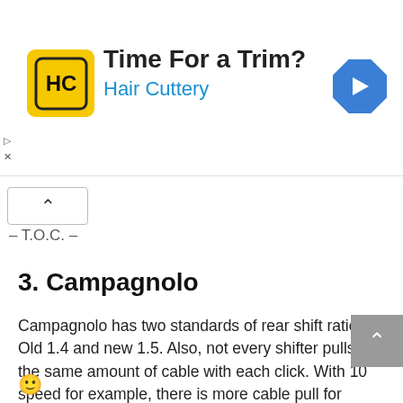[Figure (advertisement): Hair Cuttery ad banner with yellow logo showing 'HC', text 'Time For a Trim?' and 'Hair Cuttery' in blue, and a blue navigation arrow icon on the right.]
– T.O.C. –
3. Campagnolo
Campagnolo has two standards of rear shift ratio. Old 1.4 and new 1.5. Also, not every shifter pulls the same amount of cable with each click. With 10 speed for example, there is more cable pull for "slower" speeds, than there is for the others.  2.5 mm pull five times (from smallest 1st to the 6th sprocket), 3 mm for 7th and 8th, then 3.5 mm for 9th and 10th. 2.83 mm average cable pull per click.
😊